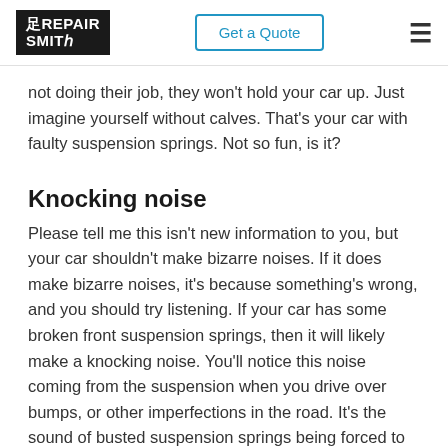RepairSmith | Get a Quote
not doing their job, they won't hold your car up. Just imagine yourself without calves. That's your car with faulty suspension springs. Not so fun, is it?
Knocking noise
Please tell me this isn't new information to you, but your car shouldn't make bizarre noises. If it does make bizarre noises, it's because something's wrong, and you should try listening. If your car has some broken front suspension springs, then it will likely make a knocking noise. You'll notice this noise coming from the suspension when you drive over bumps, or other imperfections in the road. It's the sound of busted suspension springs being forced to